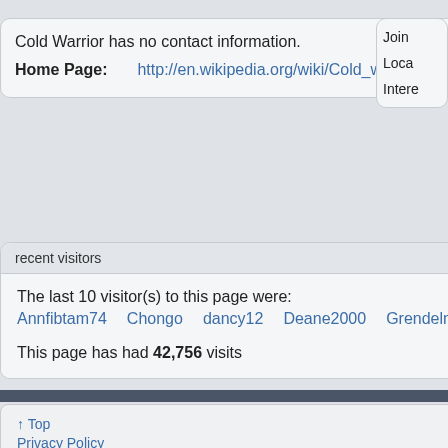Cold Warrior has no contact information.
Home Page: http://en.wikipedia.org/wiki/Cold_warrior
Join
Location
Interests
recent visitors
The last 10 visitor(s) to this page were:
Annfibtam74   Chongo   dancy12   Deane2000   Grendelmon   OreoCookie   p
This page has had 42,756 visits
↑ Top
Privacy Policy
All times are GMT -4. The time now is 02:02 PM.
All contents